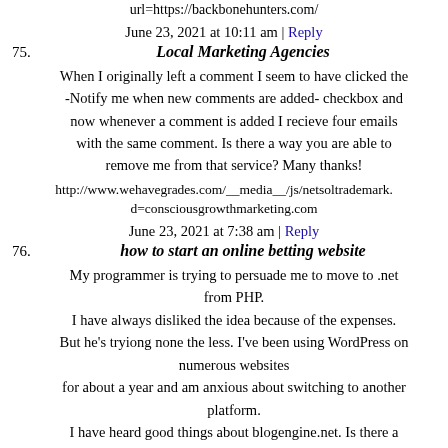url=https://backbonehunters.com/
June 23, 2021 at 10:11 am | Reply
75. Local Marketing Agencies
When I originally left a comment I seem to have clicked the -Notify me when new comments are added- checkbox and now whenever a comment is added I recieve four emails with the same comment. Is there a way you are able to remove me from that service? Many thanks!
http://www.wehavegrades.com/__media__/js/netsoltrademark.d=consciousgrowthmarketing.com
June 23, 2021 at 7:38 am | Reply
76. how to start an online betting website
My programmer is trying to persuade me to move to .net from PHP. I have always disliked the idea because of the expenses. But he's tryiong none the less. I've been using WordPress on numerous websites for about a year and am anxious about switching to another platform. I have heard good things about blogengine.net. Is there a